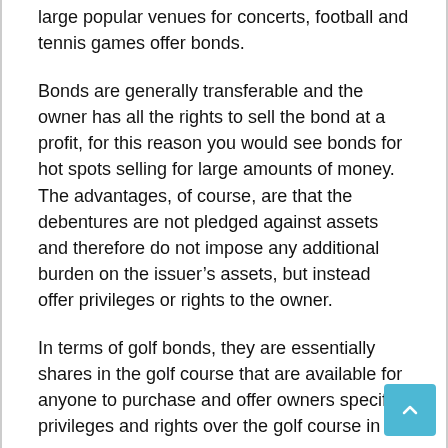large popular venues for concerts, football and tennis games offer bonds.
Bonds are generally transferable and the owner has all the rights to sell the bond at a profit, for this reason you would see bonds for hot spots selling for large amounts of money. The advantages, of course, are that the debentures are not pledged against assets and therefore do not impose any additional burden on the issuer’s assets, but instead offer privileges or rights to the owner.
In terms of golf bonds, they are essentially shares in the golf course that are available for anyone to purchase and offer owners specific privileges and rights over the golf course in